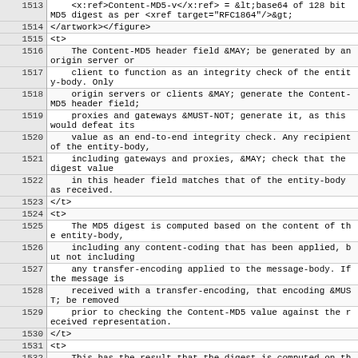| Line | Code |
| --- | --- |
| 1513 |     <x:ref>Content-MD5-v</x:ref> = &lt;base64 of 128 bit MD5 digest as per <xref target="RFC1864"/>&gt; |
| 1514 | </artwork></figure> |
| 1515 | <t> |
| 1516 |     The Content-MD5 header field &MAY; be generated by an origin server or |
| 1517 |     client to function as an integrity check of the entity-body. Only |
| 1518 |     origin servers or clients &MAY; generate the Content-MD5 header field; |
| 1519 |     proxies and gateways &MUST-NOT; generate it, as this would defeat its |
| 1520 |     value as an end-to-end integrity check. Any recipient of the entity-body, |
| 1521 |     including gateways and proxies, &MAY; check that the digest value |
| 1522 |     in this header field matches that of the entity-body as received. |
| 1523 | </t> |
| 1524 | <t> |
| 1525 |     The MD5 digest is computed based on the content of the entity-body, |
| 1526 |     including any content-coding that has been applied, but not including |
| 1527 |     any transfer-encoding applied to the message-body. If the message is |
| 1528 |     received with a transfer-encoding, that encoding &MUST; be removed |
| 1529 |     prior to checking the Content-MD5 value against the received representation. |
| 1530 | </t> |
| 1531 | <t> |
| 1532 |     This has the result that the digest is computed on the octets of the |